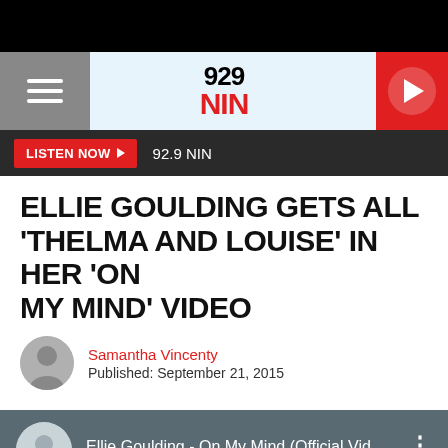[Figure (screenshot): Mobile website screenshot of 92.9 NIN radio station page showing an article about Ellie Goulding with logo header, listen now bar, article title, byline, and video thumbnail]
92.9 NIN
LISTEN NOW ► 92.9 NIN
ELLIE GOULDING GETS ALL 'THELMA AND LOUISE' IN HER 'ON MY MIND' VIDEO
Samantha Vincenty
Published: September 21, 2015
Ellie Goulding - On My Mind (Official Vid...